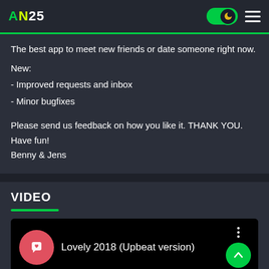AN25
The best app to meet new friends or date someone right now.
New:
- Improved requests and inbox
- Minor bugfixes
Please send us feedback on how you like it. THANK YOU.
Have fun!
Benny & Jens
VIDEO
[Figure (screenshot): Video player showing 'Lovely 2018 (Upbeat version)' with a pink circular icon featuring a heart-chat bubble logo, three dots menu, and a green scroll-up button]